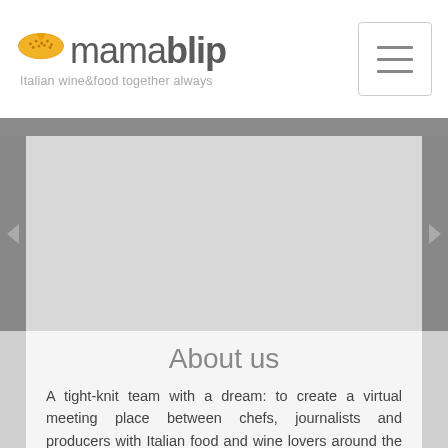mamablip – Italian wine&food together always
About us
A tight-knit team with a dream: to create a virtual meeting place between chefs, journalists and producers with Italian food and wine lovers around the world. Mamablip is a technological neighborhood cafe where a simple and intuitive language is spoken. It allows anyone to get in touch with the places of production and their interpreters and live real experiences made of scents, flavors and desire to